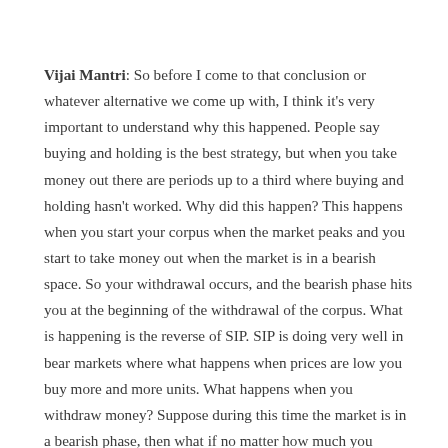Vijai Mantri: So before I come to that conclusion or whatever alternative we come up with, I think it's very important to understand why this happened. People say buying and holding is the best strategy, but when you take money out there are periods up to a third where buying and holding hasn't worked. Why did this happen? This happens when you start your corpus when the market peaks and you start to take money out when the market is in a bearish space. So your withdrawal occurs, and the bearish phase hits you at the beginning of the withdrawal of the corpus. What is happening is the reverse of SIP. SIP is doing very well in bear markets where what happens when prices are low you buy more and more units. What happens when you withdraw money? Suppose during this time the market is in a bearish phase, then what if no matter how much you withdraw ends up consuming a lot of your units. So the period that we went through 1992, 1993, 1994, 1995 was a period when the market in